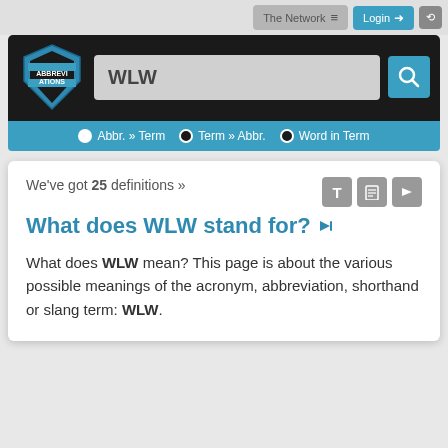The Network  Login
[Figure (screenshot): Abbreviations.com logo shield with ABBREVIATIONS text, search bar with WLW query and search button]
Abbr. » Term  Term » Abbr.  Word in Term
We've got 25 definitions »
What does WLW stand for?
What does WLW mean? This page is about the various possible meanings of the acronym, abbreviation, shorthand or slang term: WLW.